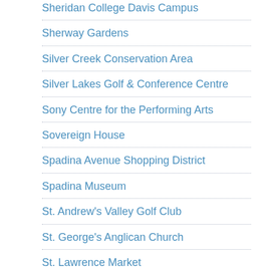Sheridan College Davis Campus
Sherway Gardens
Silver Creek Conservation Area
Silver Lakes Golf & Conference Centre
Sony Centre for the Performing Arts
Sovereign House
Spadina Avenue Shopping District
Spadina Museum
St. Andrew's Valley Golf Club
St. George's Anglican Church
St. Lawrence Market
St. Michael's Cathedral
St. Paul's United Church